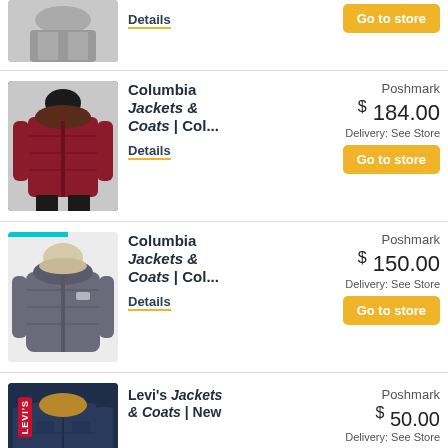[Figure (photo): Gray coat product photo (partial, top of page)]
Details
Go to store
[Figure (photo): Columbia red quilted puffer jacket with fur-trimmed hood, worn by a model]
Columbia Jackets & Coats | Col...
Poshmark
$184.00
Delivery: See Store
Go to store
Details
[Figure (photo): Columbia gray parka jacket with fur-trimmed hood, product photo on white background]
Columbia Jackets & Coats | Col...
Poshmark
$150.00
Delivery: See Store
Go to store
Details
[Figure (photo): Levi's denim jacket with fur collar, product photo with Levi's red logo badge]
Levi's Jackets & Coats | New
Poshmark
$50.00
Delivery: See Store